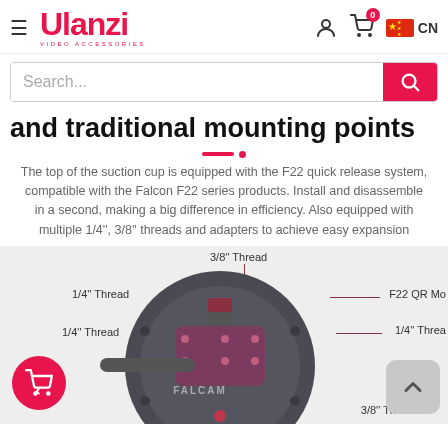Ulanzi VIDEO ACCESSORIES — navigation header with hamburger menu, user icon, cart (0), CN flag
Search...
and traditional mounting points
The top of the suction cup is equipped with the F22 quick release system, compatible with the Falcon F22 series products. Install and disassemble in a second, making a big difference in efficiency. Also equipped with multiple 1/4", 3/8" threads and adapters to achieve easy expansion
[Figure (photo): Product photo of a suction cup mount showing labeled mounting points: 3/8" Thread (top center), 1/4" Thread (left upper), 1/4" Thread (left lower), F22 QR Mo[unt] (right upper), 1/4" Threa[d] (right lower), 3/8" Thread (bottom right). A red shopping cart FAB is visible bottom left. A gray back-to-top button is visible bottom right.]